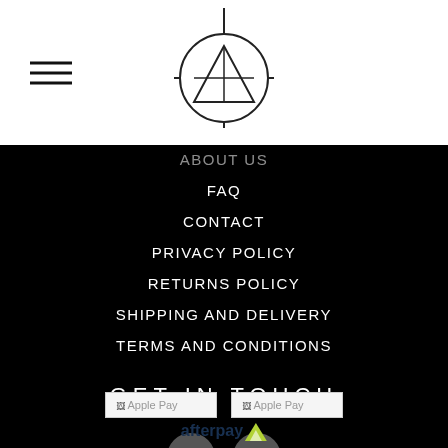[Figure (logo): Geometric circle logo with crosshair triangle design, outlined in black on white background]
[Figure (illustration): Hamburger menu icon — three horizontal black lines stacked]
ABOUT US
FAQ
CONTACT
PRIVACY POLICY
RETURNS POLICY
SHIPPING AND DELIVERY
TERMS AND CONDITIONS
GET IN TOUCH
[Figure (illustration): Two dark gray social media icon circles side by side]
Copyright © 2019, Unfinished Business Apparel
[Figure (logo): Apple Pay payment logo (broken image placeholder)]
[Figure (logo): Apple Pay payment logo (broken image placeholder)]
[Figure (logo): Afterpay logo with green checkmark symbol]